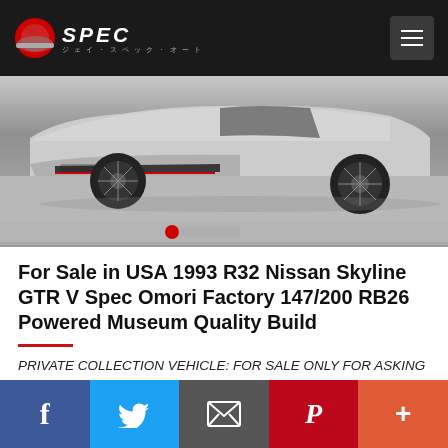JSPEC AUTO
[Figure (photo): Front lower section of a silver/grey Nissan Skyline GTR R32 sports car with aftermarket body kit, showing front bumper, splitter with red accent, and black multi-spoke wheels on a grey floor]
For Sale in USA 1993 R32 Nissan Skyline GTR V Spec Omori Factory 147/200 RB26 Powered Museum Quality Build
PRIVATE COLLECTION VEHICLE: FOR SALE ONLY FOR ASKING PRICE The R32 Nissan Skyline GTR i...